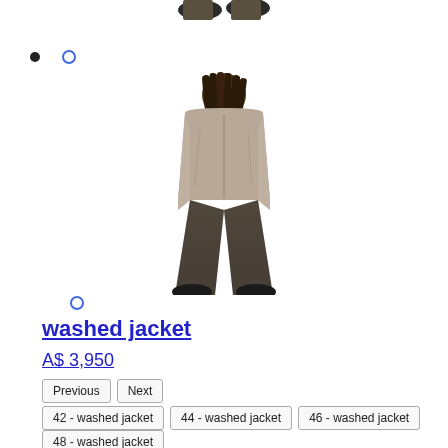[Figure (photo): Back view of a person wearing a light beige/taupe washed jacket and wide-leg dark jeans, standing against a white background. Only the lower legs/shoes are visible at top crop.]
washed jacket
A$ 3,950
Previous  Next
42 - washed jacket
44 - washed jacket
46 - washed jacket
48 - washed jacket